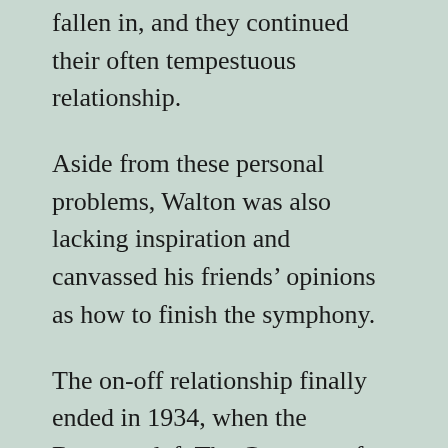fallen in, and they continued their often tempestuous relationship.
Aside from these personal problems, Walton was also lacking inspiration and canvassed his friends' opinions as how to finish the symphony.
The on-off relationship finally ended in 1934, when the Baroness left The Composer for a Hungarian Doctor.
The symphony is regarded as an important addition to the canon of British music. It begins very softly, as if arriving through an early